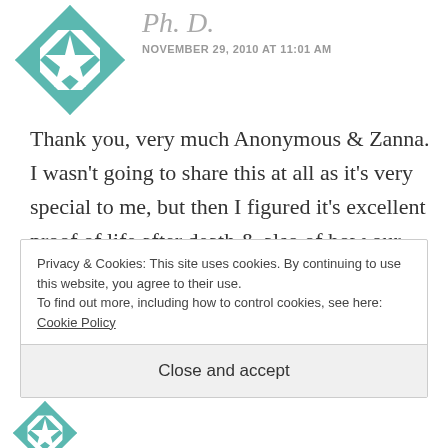[Figure (illustration): Teal geometric avatar icon with star/diamond pattern, partially visible at top]
Ph. D.
NOVEMBER 29, 2010 AT 11:01 AM
Thank you, very much Anonymous & Zanna. I wasn't going to share this at all as it's very special to me, but then I figured it's excellent proof of life after death & also of how our departed loved ones do not forget us, nor do they forget their
Privacy & Cookies: This site uses cookies. By continuing to use this website, you agree to their use.
To find out more, including how to control cookies, see here: Cookie Policy
Close and accept
[Figure (illustration): Teal geometric avatar icon at bottom, partially visible]